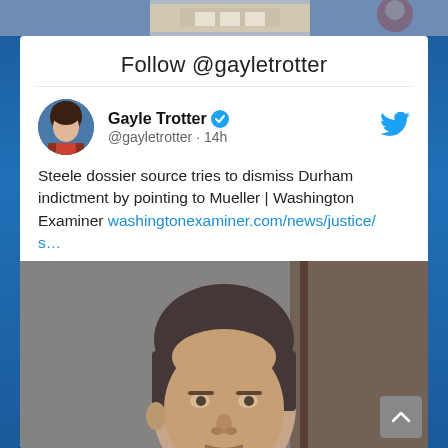[Figure (screenshot): Top decorative image strip showing White House and person in red]
Follow @gayletrotter
[Figure (photo): Profile photo of Gayle Trotter]
Gayle Trotter ✓ @gayletrotter · 14h
Steele dossier source tries to dismiss Durham indictment by pointing to Mueller | Washington Examiner washingtonexaminer.com/news/justice/s…
[Figure (photo): Photo of a man in a white shirt looking sideways, associated with the Washington Examiner article]
washingtonexaminer.com